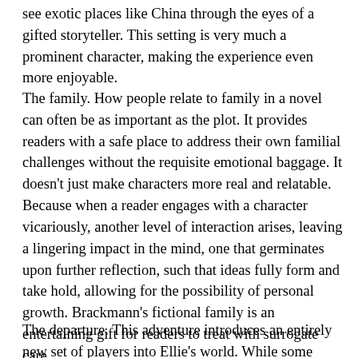see exotic places like China through the eyes of a gifted storyteller.  This setting is very much a prominent character, making the experience even more enjoyable.
The family.  How people relate to family in a novel can often be as important as the plot.  It provides readers with a safe place to address their own familial challenges without the requisite emotional baggage.  It doesn't just make characters more real and relatable.  Because when a reader engages with a character vicariously, another level of interaction arises, leaving a lingering impact in the mind, one that germinates upon further reflection, such that ideas fully form and take hold, allowing for the possibility of personal growth.  Brackmann's fictional family is an entertaining gift for readers to treat with surrogate care.
The departure.   This adventure introduces an entirely new set of players into Ellie's world.  While some favorites